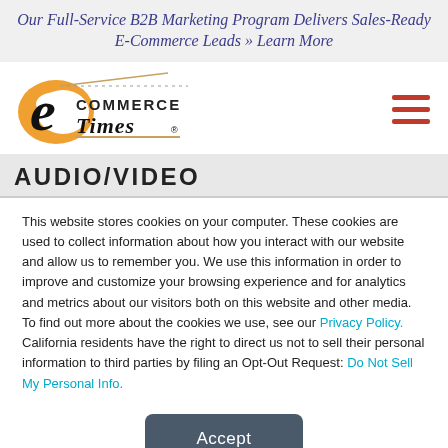Our Full-Service B2B Marketing Program Delivers Sales-Ready E-Commerce Leads » Learn More
[Figure (logo): E-Commerce Times logo with stylized 'e' and orange swoosh, blackletter Times text]
AUDIO/VIDEO
This website stores cookies on your computer. These cookies are used to collect information about how you interact with our website and allow us to remember you. We use this information in order to improve and customize your browsing experience and for analytics and metrics about our visitors both on this website and other media. To find out more about the cookies we use, see our Privacy Policy. California residents have the right to direct us not to sell their personal information to third parties by filing an Opt-Out Request: Do Not Sell My Personal Info.